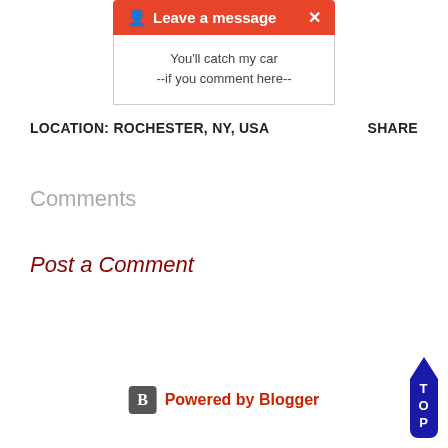[Figure (screenshot): Orange 'Leave a message' bar with person icon and X close button, above a white message box containing text '--if you comment here--']
LOCATION: ROCHESTER, NY, USA
SHARE
Comments
Post a Comment
Powered by Blogger
[Figure (infographic): TOP button with upward arrow in dark blue]